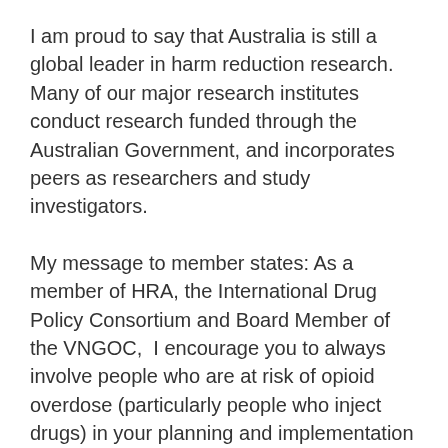I am proud to say that Australia is still a global leader in harm reduction research. Many of our major research institutes conduct research funded through the Australian Government, and incorporates peers as researchers and study investigators.
My message to member states: As a member of HRA, the International Drug Policy Consortium and Board Member of the VNGOC,  I encourage you to always involve people who are at risk of opioid overdose (particularly people who inject drugs) in your planning and implementation of all interventions aiming to reduce opioid overdose. Some member states already work with their civil society counterparts, but in the case that you have not already met with